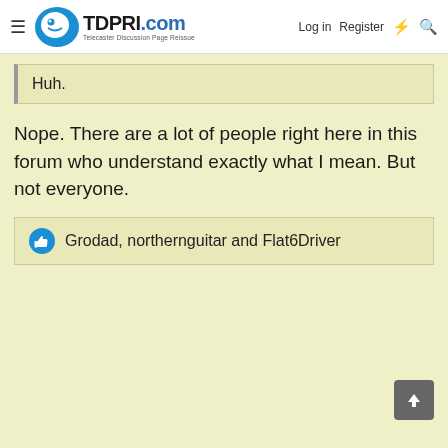TDPRI.com — Telecaster Discussion Page Reissue | Log in | Register
Huh.
Nope. There are a lot of people right here in this forum who understand exactly what I mean. But not everyone.
👍 Grodad, northernguitar and Flat6Driver